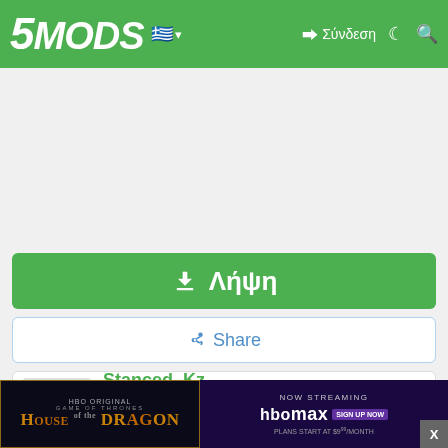5MODS — Σύνδεση
[Figure (screenshot): Green navigation header with 5MODS logo, Greek flag, login and search icons]
[Figure (other): Advertisement area (blank/white space)]
⬇ Λήψη
Share
Stanced_Kz
[Figure (photo): User avatar sketch image]
YouTube 807
[Figure (screenshot): House of the Dragon HBO advertisement banner with NOW STREAMING HBOmax SIGN UP NOW. PLANS START AT $9.99/MONTH]